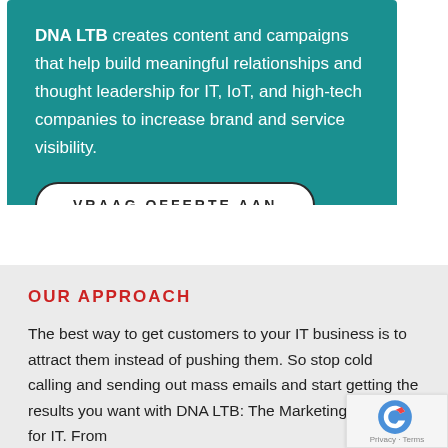DNA LTB creates content and campaigns that help build meaningful relationships and thought leadership for IT, IoT, and high-tech companies to increase brand and service visibility.
VRAAG OFFERTE AAN
OUR APPROACH
The best way to get customers to your IT business is to attract them instead of pushing them. So stop cold calling and sending out mass emails and start getting the results you want with DNA LTB: The Marketing Agency for IT. From